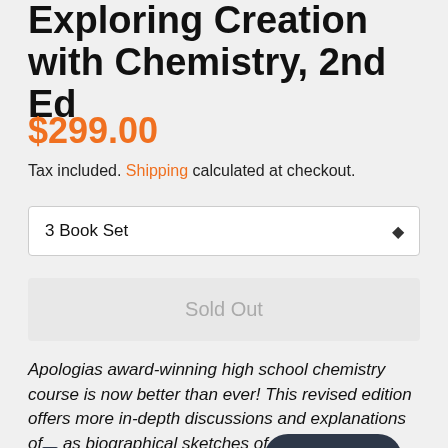Exploring Creation with Chemistry, 2nd Ed
$299.00
Tax included. Shipping calculated at checkout.
3 Book Set
Sold Out
Apologias award-winning high school chemistry course is now better than ever! This revised edition offers more in-depth discussions and explanations of as biographical sketches of Christian scien made a difference in the field while giving the glory to God